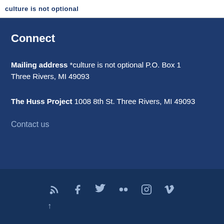culture is not optional
Connect
Mailing address *culture is not optional P.O. Box 1 Three Rivers, MI 49093
The Huss Project 1008 8th St. Three Rivers, MI 49093
Contact us
[Figure (infographic): Social media icons: RSS, Facebook, Twitter, Flickr, Instagram, Vimeo, and a back-to-top arrow]